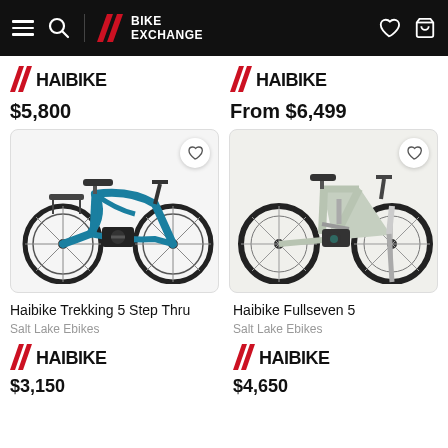BikeExchange navigation bar
$5,800
From $6,499
[Figure (photo): Blue Haibike Trekking 5 Step Thru e-bike with rear rack, trekking handlebars, disc brakes, viewed from the right side]
[Figure (photo): Light green/grey Haibike Fullseven 5 full-suspension mountain e-bike, viewed from the right side]
Haibike Trekking 5 Step Thru
Salt Lake Ebikes
Haibike Fullseven 5
Salt Lake Ebikes
$4,650